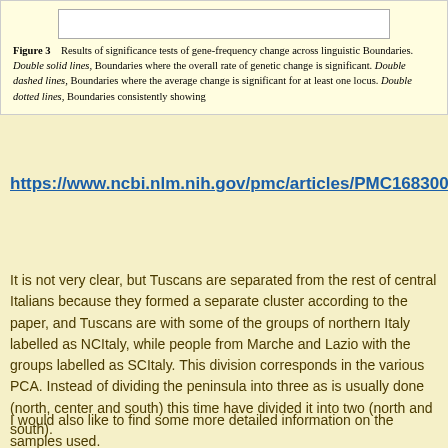Figure 3  Results of significance tests of gene-frequency change across linguistic Boundaries. Double solid lines, Boundaries where the overall rate of genetic change is significant. Double dashed lines, Boundaries where the average change is significant for at least one locus. Double dotted lines, Boundaries consistently showing
https://www.ncbi.nlm.nih.gov/pmc/articles/PMC1683007/
It is not very clear, but Tuscans are separated from the rest of central Italians because they formed a separate cluster according to the paper, and Tuscans are with some of the groups of northern Italy labelled as NCItaly, while people from Marche and Lazio with the groups labelled as SCItaly. This division corresponds in the various PCA. Instead of dividing the peninsula into three as is usually done (north, center and south) this time have divided it into two (north and south).
I would also like to find some more detailed information on the samples used.